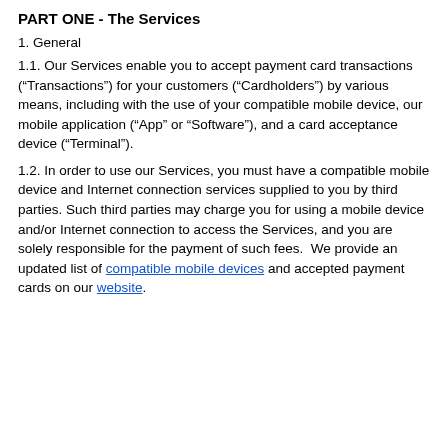PART ONE - The Services
1. General
1.1. Our Services enable you to accept payment card transactions (“Transactions”) for your customers (“Cardholders”) by various means, including with the use of your compatible mobile device, our mobile application (“App” or “Software”), and a card acceptance device (“Terminal”).
1.2. In order to use our Services, you must have a compatible mobile device and Internet connection services supplied to you by third parties. Such third parties may charge you for using a mobile device and/or Internet connection to access the Services, and you are solely responsible for the payment of such fees.  We provide an updated list of compatible mobile devices and accepted payment cards on our website.